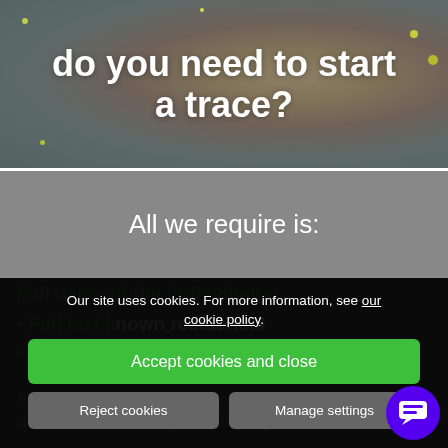do you need to start a trace?
All we require is:
Full name of the individual(s)
• Full last known residential address
Any additional information such as date of birth, family or employment
Our site uses cookies. For more information, see our cookie policy.
Accept cookies and close
Reject cookies
Manage settings